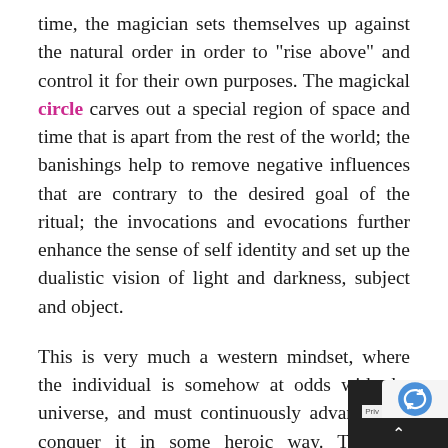time, the magician sets themselves up against the natural order in order to "rise above" and control it for their own purposes. The magickal circle carves out a special region of space and time that is apart from the rest of the world; the banishings help to remove negative influences that are contrary to the desired goal of the ritual; the invocations and evocations further enhance the sense of self identity and set up the dualistic vision of light and darkness, subject and object.
This is very much a western mindset, where the individual is somehow at odds with the universe, and must continuously advance and conquer it in some heroic way. There is certainly some benefit to aspects of this approach; look at the improvements in science, industry, commerce. Civilization pushed forward remarkably; technology has incredible leaps forward; science has opened up our